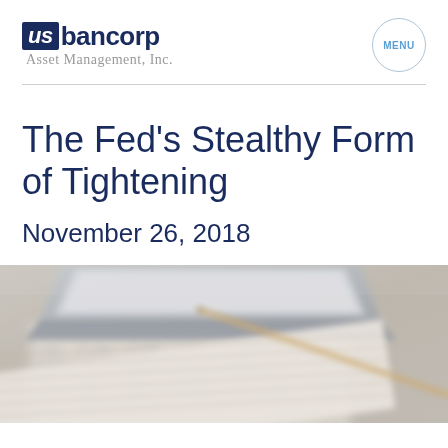US Bancorp Asset Management, Inc. — MENU
The Fed's Stealthy Form of Tightening
November 26, 2018
[Figure (photo): Blurred photo of financial spreadsheet documents with a pen and laptop, showing numerical data columns]